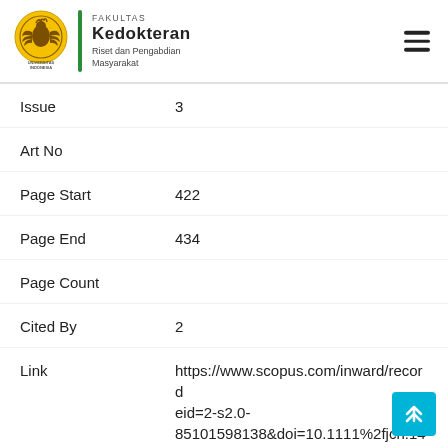FAKULTAS KEDOKTERAN Riset dan Pengabdian Masyarakat - Universitas Indonesia
Issue    3
Art No
Page Start    422
Page End    434
Page Count
Cited By    2
Link    https://www.scopus.com/inward/record eid=2-s2.0-85101598138&doi=10.1111%2fjch.14226&pa
Affiliations    Department of Medical Sciences, School of Medical and Life Sciences, Sunway University,